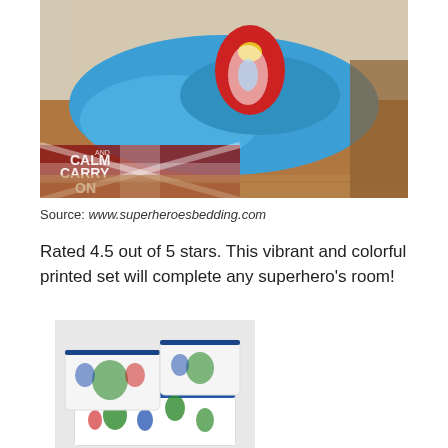[Figure (photo): A bed with a bright blue Iron Man superhero duvet/comforter in a bedroom, with a 'Keep Calm and Carry On' Union Jack rug visible on the floor beneath the bed.]
Source: www.superheroesbedding.com
Rated 4.5 out of 5 stars. This vibrant and colorful printed set will complete any superhero's room!
[Figure (photo): A child's bed set with superhero-patterned sheets and pillows featuring Avengers characters including Hulk, Captain America, and Iron Man on a white background with blue trim.]